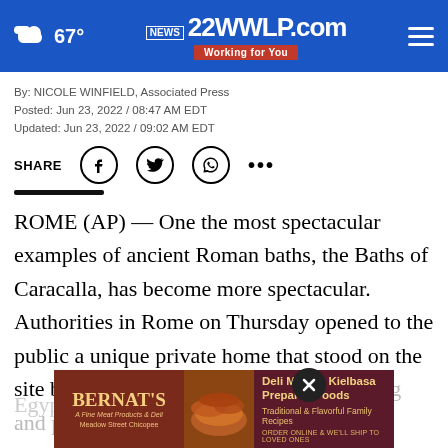22WWLP.com – Working for You | 67°
By: NICOLE WINFIELD, Associated Press
Posted: Jun 23, 2022 / 08:47 AM EDT
Updated: Jun 23, 2022 / 09:02 AM EDT
SHARE
ROME (AP) — One the most spectacular examples of ancient Roman baths, the Baths of Caracalla, has become more spectacular. Authorities in Rome on Thursday opened to the public a unique private home that stood on the site before the baths, with a frescoed ceiling and prayer room honoring Roman and Egypt…
[Figure (other): Bernat's Deli Meats & Deli advertisement banner showing Kielbasa and sausages with text 'Deli Meats · Kielbasa Prepared Foods, Traditional & Flavorful Family Recipes, ORDER ONLINE & WE'LL SHIP TO LOVED ONES, Meadow Street Chicopee']